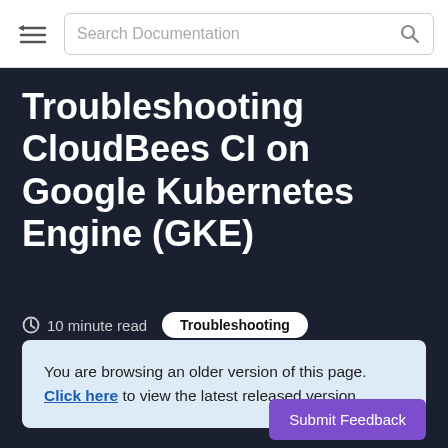Search Documentation
Troubleshooting CloudBees CI on Google Kubernetes Engine (GKE)
10 minute read   Troubleshooting
You are browsing an older version of this page. Click here to view the latest released version.
Submit Feedback